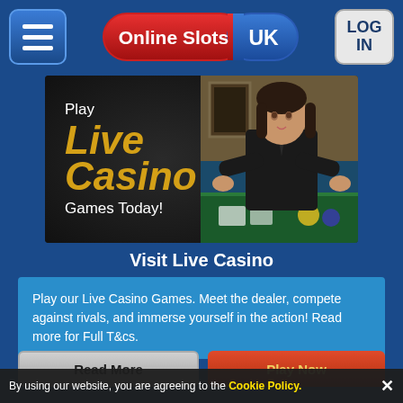[Figure (screenshot): Online Slots UK website header with hamburger menu icon, Online Slots UK logo (red/blue pill shape), and LOG IN button]
[Figure (illustration): Live Casino promotional banner with dark background, gold italic text reading 'Play Live Casino Games Today!' and a female dealer at a casino table on the right]
Visit Live Casino
Play our Live Casino Games. Meet the dealer, compete against rivals, and immerse yourself in the action! Read more for Full T&cs.
Read More
Play Now
By using our website, you are agreeing to the Cookie Policy.